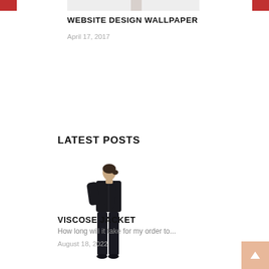[Figure (photo): Partial cropped image at the top of the page showing a white/neutral background with a small figure, red strips on left and right edges]
WEBSITE DESIGN WALLPAPER
April 17, 2017
LATEST POSTS
[Figure (photo): A woman wearing a dark black viscose jacket and dark pants, standing against a white background]
VISCOSE JACKET
How long will it take for my order to...
August 18, 2022